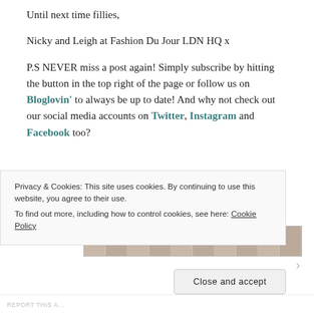Until next time fillies,
Nicky and Leigh at Fashion Du Jour LDN HQ x
P.S NEVER miss a post again! Simply subscribe by hitting the button in the top right of the page or follow us on Bloglovin' to always be up to date! And why not check out our social media accounts on Twitter, Instagram and Facebook too?
[Figure (photo): Partial view of a brick wall image strip]
Privacy & Cookies: This site uses cookies. By continuing to use this website, you agree to their use. To find out more, including how to control cookies, see here: Cookie Policy
Close and accept